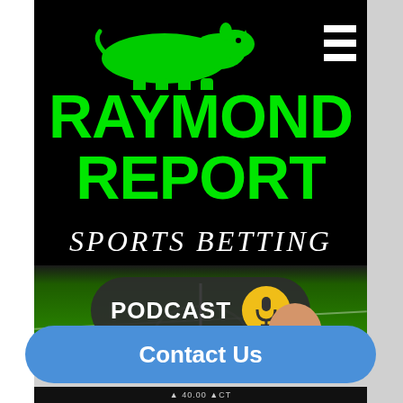[Figure (screenshot): Raymond Report Sports Betting Podcast promotional image. Black background with large green bold text reading RAYMOND REPORT, cursive white text reading SPORTS BETTING, a dark rounded button labeled PODCAST with a yellow microphone icon, a football field background in green, and a man's face/head at the bottom right. A hamburger menu icon is in the top right corner.]
Contact Us